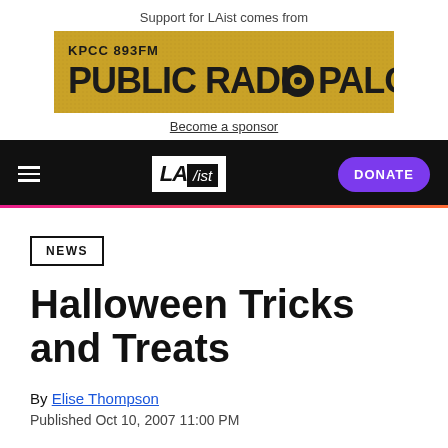Support for LAist comes from
[Figure (screenshot): KPCC 893FM Public Radio Palooza advertisement banner on golden/yellow background]
Become a sponsor
LAist navigation bar with hamburger menu, LAist logo, and DONATE button
NEWS
Halloween Tricks and Treats
By Elise Thompson
Published Oct 10, 2007 11:00 PM